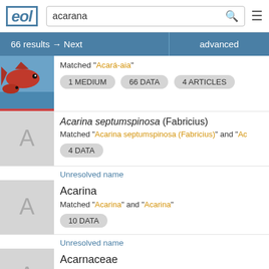EOL | acarana [search]
66 results → Next
advanced
Matched "Acará-aia"
1 MEDIUM   66 DATA   4 ARTICLES
Acarina septumspinosa (Fabricius)
Matched "Acarina septumspinosa (Fabricius)" and "Ac..."
4 DATA
Unresolved name
Acarina
Matched "Acarina" and "Acarina"
10 DATA
Unresolved name
Acarnaceae
Matched "Acarnaceae" and "Acarnaceae"